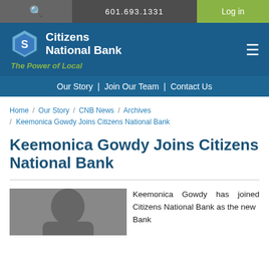🔍   601.693.1331   Log in
[Figure (logo): Citizens National Bank logo — hexagon icon with 'S' shape, text 'Citizens National Bank', tagline 'The Power of Local']
Our Story | Join Our Team | Contact Us
Home / Our Story / CNB News / Archives / Keemonica Gowdy Joins Citizens National Bank
Keemonica Gowdy Joins Citizens National Bank
Keemonica Gowdy has joined Citizens National Bank as the new Bank
[Figure (photo): Headshot photo of Keemonica Gowdy]